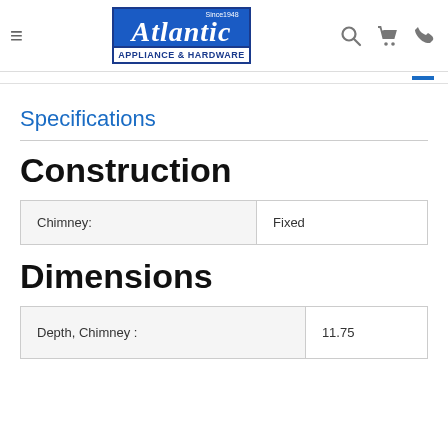Atlantic Appliance & Hardware - Since 1948
Specifications
Construction
|  |  |
| --- | --- |
| Chimney: | Fixed |
Dimensions
|  |  |
| --- | --- |
| Depth, Chimney : | 11.75 |